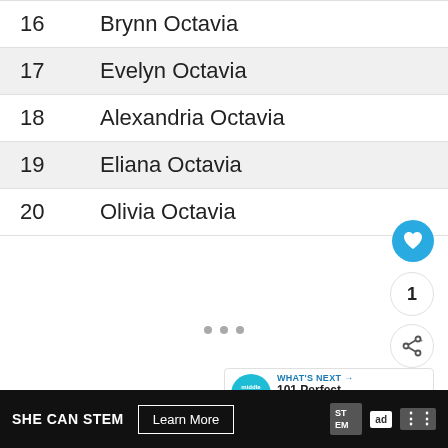16  Brynn Octavia
17  Evelyn Octavia
18  Alexandria Octavia
19  Eliana Octavia
20  Olivia Octavia
SHE CAN STEM  Learn More